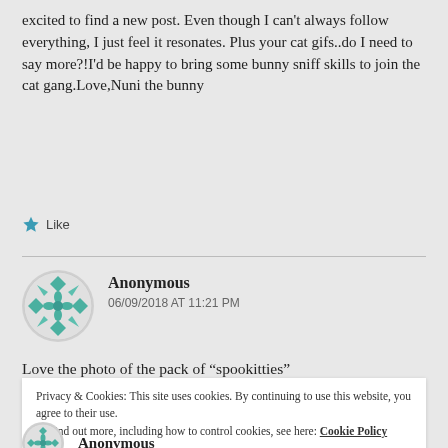excited to find a new post. Even though I can't always follow everything, I just feel it resonates. Plus your cat gifs..do I need to say more?!I'd be happy to bring some bunny sniff skills to join the cat gang.Love,Nuni the bunny
Like
Anonymous
06/09/2018 AT 11:21 PM
Love the photo of the pack of “spookitties”
Privacy & Cookies: This site uses cookies. By continuing to use this website, you agree to their use.
To find out more, including how to control cookies, see here: Cookie Policy
Close and accept
Anonymous